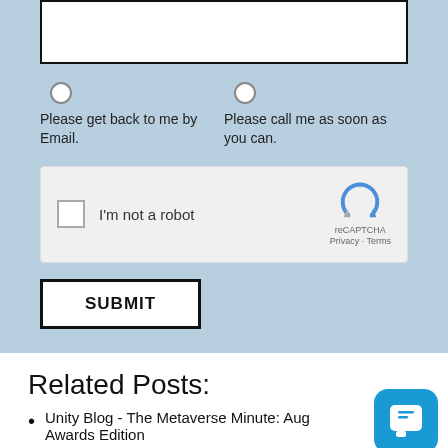Please get back to me by Email.
Please call me as soon as you can.
[Figure (screenshot): reCAPTCHA widget with checkbox labeled I'm not a robot, reCAPTCHA logo and Privacy - Terms links]
SUBMIT
Related Posts:
Unity Blog - The Metaverse Minute: Aug Awards Edition